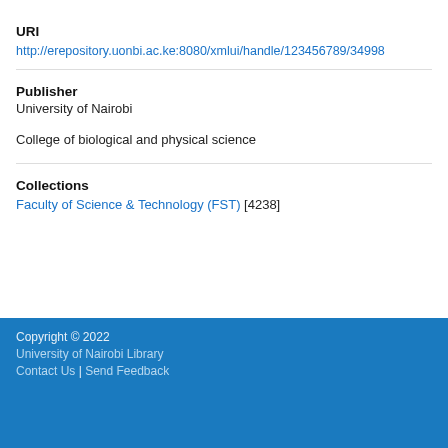URI
http://erepository.uonbi.ac.ke:8080/xmlui/handle/123456789/34998
Publisher
University of Nairobi
College of biological and physical science
Collections
Faculty of Science & Technology (FST) [4238]
Copyright © 2022
University of Nairobi Library
Contact Us | Send Feedback